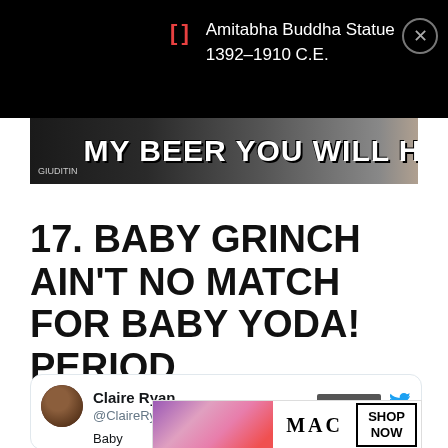[Figure (screenshot): Black notification bar showing Amitabha Buddha Statue 1392-1910 C.E. with bracket icon and close button]
[Figure (photo): Meme image banner with bold white text: MY BEER YOU WILL HOLD]
17. BABY GRINCH AIN'T NO MATCH FOR BABY YODA! PERIOD.
[Figure (screenshot): Tweet by Claire Ryan @ClaireRyannn with text beginning 'Baby' and a MAC cosmetics advertisement overlay with CLOSE button and SHOP NOW button]